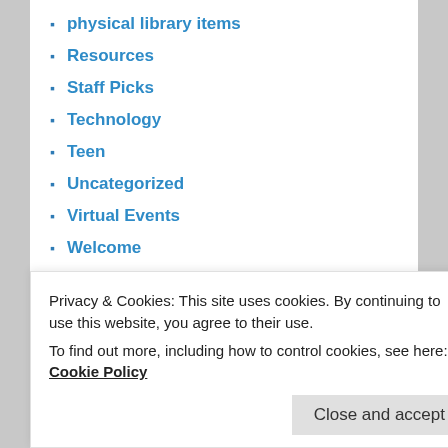physical library items
Resources
Staff Picks
Technology
Teen
Uncategorized
Virtual Events
Welcome
APL FACEBOOK PAGE
RECENT POSTS
Privacy & Cookies: This site uses cookies. By continuing to use this website, you agree to their use.
To find out more, including how to control cookies, see here: Cookie Policy